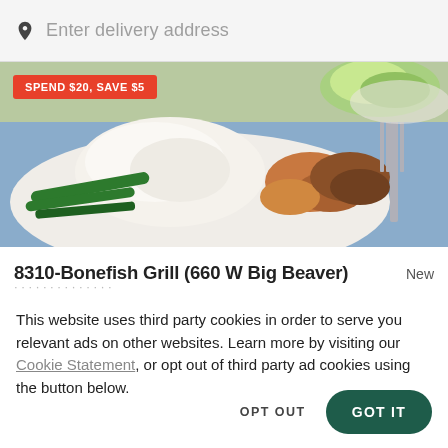Enter delivery address
[Figure (photo): Food photo showing mashed potatoes, green beans, shrimp, and glazed meat on a white plate with a fork. A promotional badge reads SPEND $20, SAVE $5.]
SPEND $20, SAVE $5
8310-Bonefish Grill (660 W Big Beaver)
New
This website uses third party cookies in order to serve you relevant ads on other websites. Learn more by visiting our Cookie Statement, or opt out of third party ad cookies using the button below.
OPT OUT
GOT IT